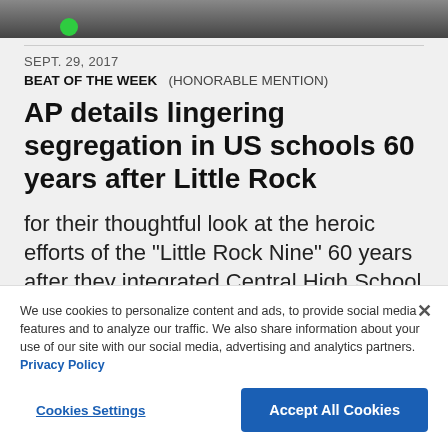[Figure (photo): Partial photo strip at top of page showing a person, cropped]
SEPT. 29, 2017
BEAT OF THE WEEK   (HONORABLE MENTION)
AP details lingering segregation in US schools 60 years after Little Rock
for their thoughtful look at the heroic efforts of the “Little Rock Nine” 60 years after they integrated Central High School in
national data that details the lingering ba
http://bit.ly/2xMcBPp
We use cookies to personalize content and ads, to provide social media features and to analyze our traffic. We also share information about your use of our site with our social media, advertising and analytics partners. Privacy Policy
Cookies Settings   Accept All Cookies